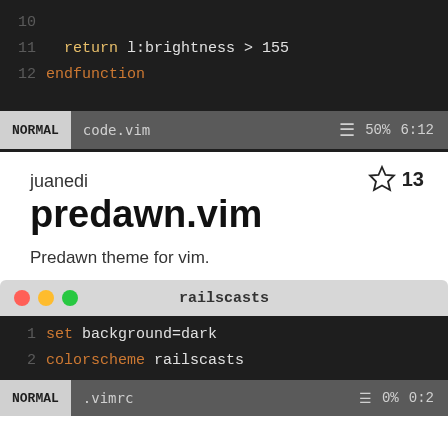[Figure (screenshot): Vim editor showing code lines 10-12 with 'return l:brightness > 155' and 'endfunction', with NORMAL statusbar showing 'code.vim', 50%, 6:12]
juanedi
predawn.vim
★ 13
Predawn theme for vim.
Created 7 years ago
Last commit 7 years ago
[Figure (screenshot): macOS terminal window titled 'railscasts' showing vim code: line 1 'set background=dark', line 2 'colorscheme railscasts', with NORMAL statusbar showing '.vimrc', 0%, 0:2]